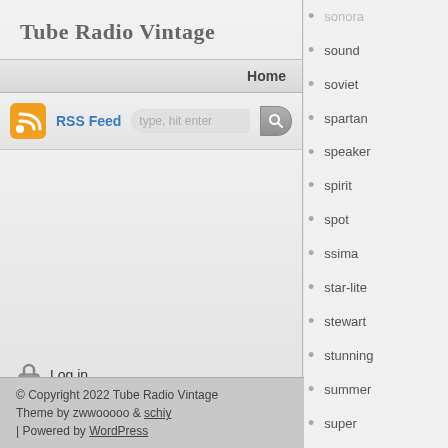Tube Radio Vintage
Home
RSS Feed  type, hit enter
Log in
© Copyright 2022 Tube Radio Vintage
Theme by zwwooooo & schiy
| Powered by WordPress
sonora
sound
soviet
spartan
speaker
spirit
spot
ssima
star-lite
stewart
stunning
summer
super
superheterodyne
surprises
swing
synth
table
tamiya
teaberry
tecnico